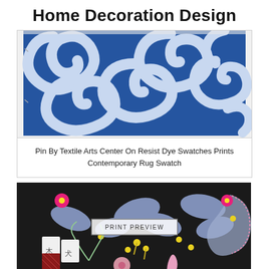Home Decoration Design
[Figure (photo): Blue and white resist dye fabric swatch showing swirling spiral patterns on a white background, pinned at corners]
Pin By Textile Arts Center On Resist Dye Swatches Prints Contemporary Rug Swatch
[Figure (photo): Dark black floral fabric print with colorful flowers in pink, yellow, and blue-gray on a black background, with a 'PRINT PREVIEW' button overlay]